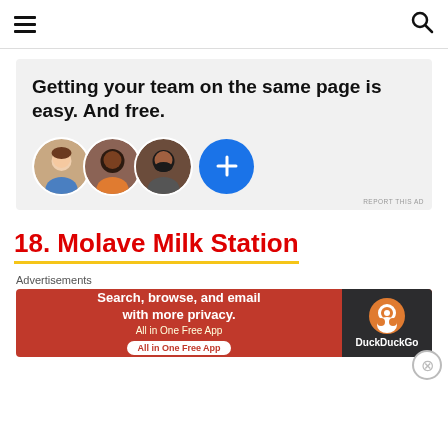≡  🔍
[Figure (infographic): Advertisement banner with text 'Getting your team on the same page is easy. And free.' with three circular avatar photos and a blue plus button]
REPORT THIS AD
18. Molave Milk Station
Advertisements
[Figure (infographic): DuckDuckGo advertisement: 'Search, browse, and email with more privacy. All in One Free App' with DuckDuckGo logo on dark background]